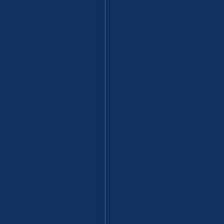[Figure (other): Dark navy blue background with two faint vertical white lines. Rotated italic white text reading 'ndShwegyin .Slimextricatedhisfo' oriented vertically along the right portion of the page.]